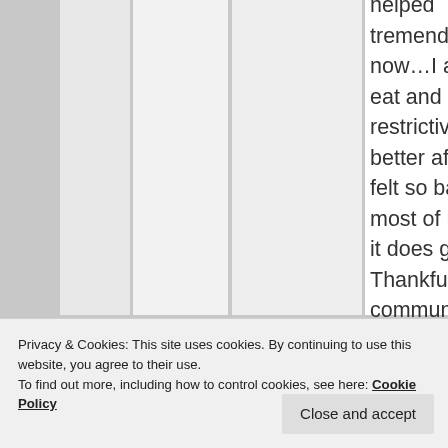helped tremendously. Right now…I am willing to eat and drink restrictively to feel better after having felt so badly for most of my life…but it does get boring. Thankful I have a community so I do not feel like a freak. 🙂
★ Like
Privacy & Cookies: This site uses cookies. By continuing to use this website, you agree to their use. To find out more, including how to control cookies, see here: Cookie Policy